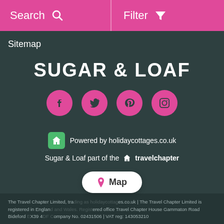Search   Filter
Sitemap
SUGAR & LOAF
[Figure (infographic): Four pink circular social media icons: Facebook, Twitter, Pinterest, Instagram]
Powered by holidaycottages.co.uk
Sugar & Loaf part of the travelchapter
The Travel Chapter Limited, trading as holidaycottages.co.uk | The Travel Chapter Limited is registered in England and Wales. Registered office Travel Chapter House Gammaton Road Bideford EX39 4DF Company No. 02431506 | VAT reg: 143053210
[Figure (infographic): Map button overlay at bottom center]